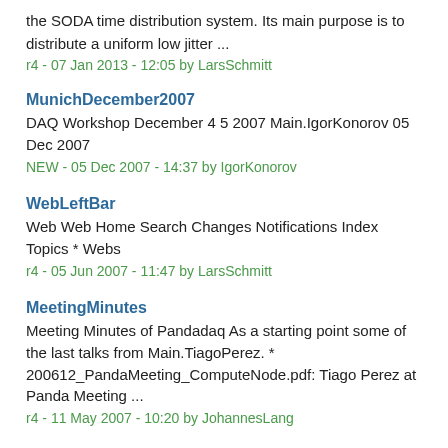the SODA time distribution system. Its main purpose is to distribute a uniform low jitter ...
r4 - 07 Jan 2013 - 12:05 by LarsSchmitt
MunichDecember2007
DAQ Workshop December 4 5 2007 Main.IgorKonorov 05 Dec 2007
NEW - 05 Dec 2007 - 14:37 by IgorKonorov
WebLeftBar
Web Web Home Search Changes Notifications Index Topics * Webs
r4 - 05 Jun 2007 - 11:47 by LarsSchmitt
MeetingMinutes
Meeting Minutes of Pandadaq As a starting point some of the last talks from Main.TiagoPerez. * 200612_PandaMeeting_ComputeNode.pdf: Tiago Perez at Panda Meeting ...
r4 - 11 May 2007 - 10:20 by JohannesLang
KrakowMay2007
Date: 14 15 May 2007 At Krakow Jagelonian University . Contact Krzysztof Korcyl (Krzysztof.Korcyl #64;ifj.edu.pl) for more info. Main.TiagoPerez 02 Apr 2007